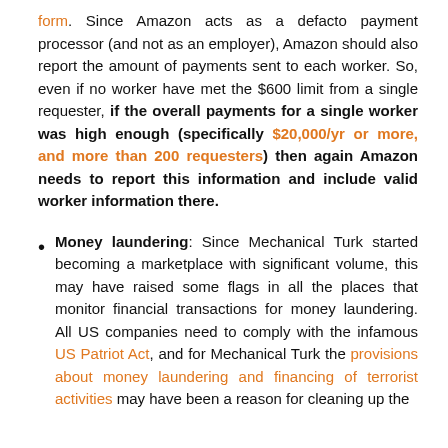form. Since Amazon acts as a defacto payment processor (and not as an employer), Amazon should also report the amount of payments sent to each worker. So, even if no worker have met the $600 limit from a single requester, if the overall payments for a single worker was high enough (specifically $20,000/yr or more, and more than 200 requesters) then again Amazon needs to report this information and include valid worker information there.
Money laundering: Since Mechanical Turk started becoming a marketplace with significant volume, this may have raised some flags in all the places that monitor financial transactions for money laundering. All US companies need to comply with the infamous US Patriot Act, and for Mechanical Turk the provisions about money laundering and financing of terrorist activities may have been a reason for cleaning up the